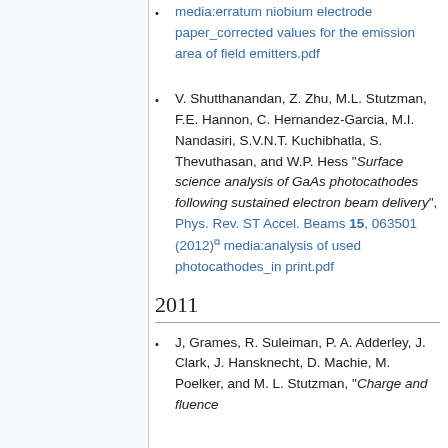media:erratum niobium electrode paper_corrected values for the emission area of field emitters.pdf
V. Shutthanandan, Z. Zhu, M.L. Stutzman, F.E. Hannon, C. Hernandez-Garcia, M.I. Nandasiri, S.V.N.T. Kuchibhatla, S. Thevuthasan, and W.P. Hess "Surface science analysis of GaAs photocathodes following sustained electron beam delivery", Phys. Rev. ST Accel. Beams 15, 063501 (2012) media:analysis of used photocathodes_in print.pdf
2011
J, Grames, R. Suleiman, P. A. Adderley, J. Clark, J. Hansknecht, D. Machie, M. Poelker, and M. L. Stutzman, "Charge and fluence